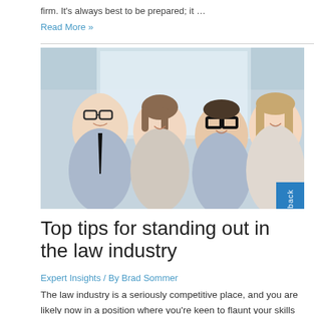firm. It's always best to be prepared; it …
Read More »
[Figure (photo): Group of four smiling young business professionals gathered together, one wearing glasses and a black tie, others in business attire, appearing to collaborate]
Top tips for standing out in the law industry
Expert Insights / By Brad Sommer
The law industry is a seriously competitive place, and you are likely now in a position where you're keen to flaunt your skills to stand out in your field. Once your potential